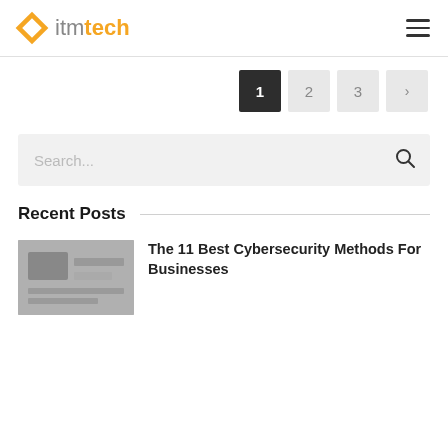itmtech
Pagination: 1 2 3 >
Search...
Recent Posts
The 11 Best Cybersecurity Methods For Businesses